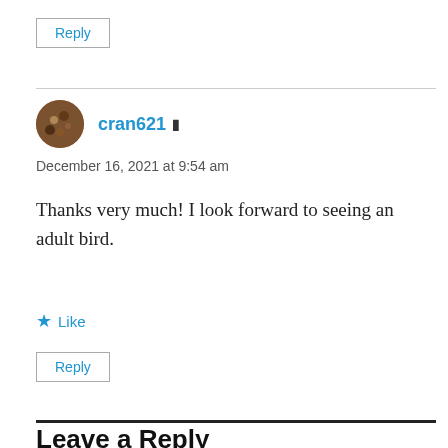Reply
cran621 ▲
December 16, 2021 at 9:54 am
Thanks very much! I look forward to seeing an adult bird.
★ Like
Reply
Leave a Reply